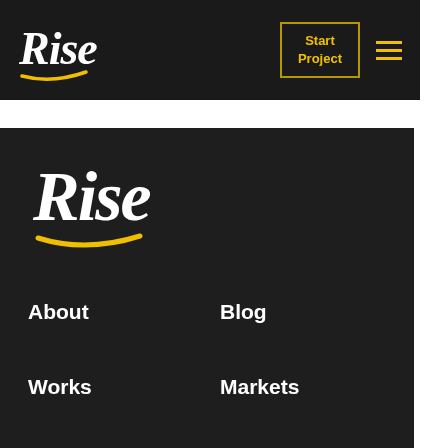Rise — header with logo, Start Project button, and hamburger menu
[Figure (logo): Rise logo in white script font with yellow underline stroke, on dark background]
Start Project
[Figure (logo): Rise logo in white script font with yellow underline stroke, large, in dark footer section]
About
Blog
Works
Markets
Services
Contact Us